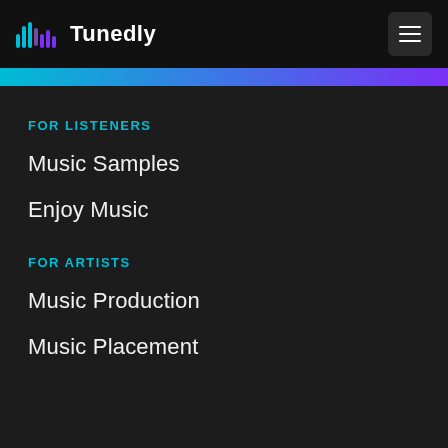Tunedly
FOR LISTENERS
Music Samples
Enjoy Music
FOR ARTISTS
Music Production
Music Placement